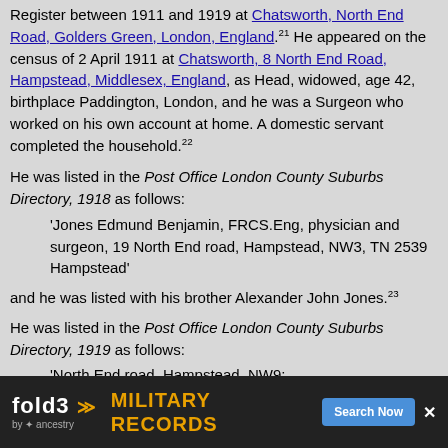Register between 1911 and 1919 at Chatsworth, North End Road, Golders Green, London, England.21 He appeared on the census of 2 April 1911 at Chatsworth, 8 North End Road, Hampstead, Middlesex, England, as Head, widowed, age 42, birthplace Paddington, London, and he was a Surgeon who worked on his own account at home. A domestic servant completed the household.22
He was listed in the Post Office London County Suburbs Directory, 1918 as follows:
'Jones Edmund Benjamin, FRCS.Eng, physician and surgeon, 19 North End road, Hampstead, NW3, TN 2539 Hampstead'
and he was listed with his brother Alexander John Jones.23
He was listed in the Post Office London County Suburbs Directory, 1919 as follows:
'North End road, Hampstead, NW9: 19 Jones Edmund Benjamin, F.R.C.S.Eng, physician and surgeon'
[Figure (other): fold3 Military Records advertisement banner with Search Now button]